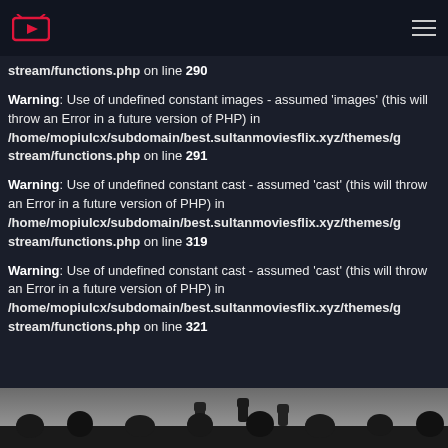Logo and navigation
stream/functions.php on line 290
Warning: Use of undefined constant images - assumed 'images' (this will throw an Error in a future version of PHP) in /home/mopiulcx/subdomain/best.sultanmoviesflix.xyz/themes/gstream/functions.php on line 291
Warning: Use of undefined constant cast - assumed 'cast' (this will throw an Error in a future version of PHP) in /home/mopiulcx/subdomain/best.sultanmoviesflix.xyz/themes/gstream/functions.php on line 319
Warning: Use of undefined constant cast - assumed 'cast' (this will throw an Error in a future version of PHP) in /home/mopiulcx/subdomain/best.sultanmoviesflix.xyz/themes/gstream/functions.php on line 321
[Figure (photo): Crowd silhouette with raised fists at the bottom of the page]